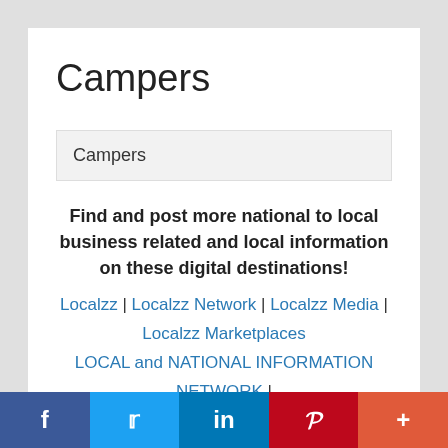Campers
Campers
Find and post more national to local business related and local information on these digital destinations!
Localzz | Localzz Network | Localzz Media | Localzz Marketplaces
LOCAL and NATIONAL INFORMATION NETWORK | Local Advertising Network | Listing Advertising Network
f  t  in  p  +